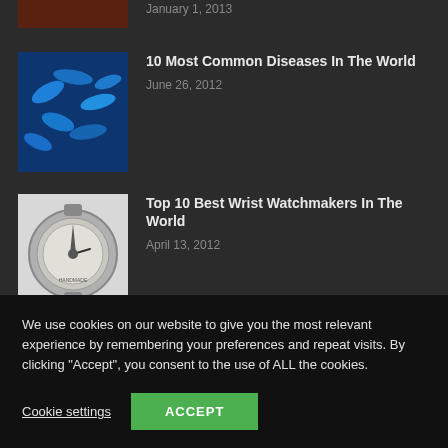January 1, 2013
10 Most Common Diseases In The World
June 26, 2012
Top 10 Best Wrist Watchmakers In The World
April 13, 2012
POPULAR CATEGORY
We use cookies on our website to give you the most relevant experience by remembering your preferences and repeat visits. By clicking “Accept”, you consent to the use of ALL the cookies.
Cookie settings
ACCEPT